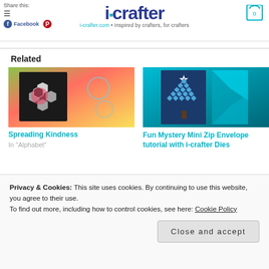i-crafter - i-crafter.com - Inspired by crafters, for crafters
Related
[Figure (photo): Crafting card with colorful floral hexagon pattern in pink, red, green background]
Spreading Kindness
In "Alphabet"
[Figure (photo): Fun Mystery Mini Zip Envelope featuring a Christmas tree made of diamonds on teal/dark blue background]
Fun Mystery Mini Zip Envelope tutorial with i-crafter Dies
Privacy & Cookies: This site uses cookies. By continuing to use this website, you agree to their use.
To find out more, including how to control cookies, see here: Cookie Policy
Close and accept